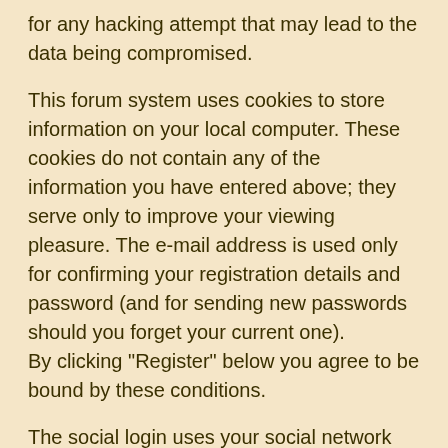for any hacking attempt that may lead to the data being compromised.
This forum system uses cookies to store information on your local computer. These cookies do not contain any of the information you have entered above; they serve only to improve your viewing pleasure. The e-mail address is used only for confirming your registration details and password (and for sending new passwords should you forget your current one).
By clicking "Register" below you agree to be bound by these conditions.
The social login uses your social network username and password to give you access to the site via an app developed by OneSocial. We do not use any other information and do not view the login details ourselves. Let us know if you do not wish to use the login any more and wish to have the link removed, and details deleted